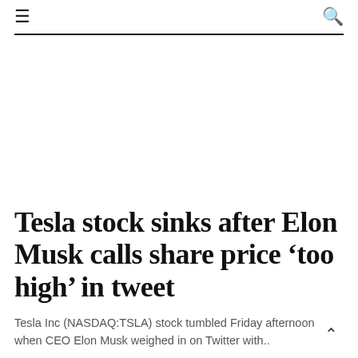≡  🔍
Tesla stock sinks after Elon Musk calls share price ‘too high’ in tweet
Tesla Inc (NASDAQ:TSLA) stock tumbled Friday afternoon when CEO Elon Musk weighed in on Twitter with..